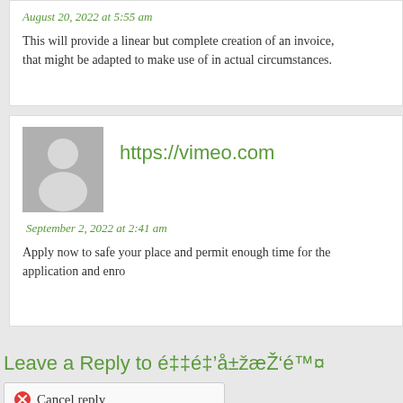August 20, 2022 at 5:55 am
This will provide a linear but complete creation of an invoice, that might be adapted to make use of in actual circumstances.
[Figure (illustration): Generic user avatar placeholder (grey silhouette on grey background)]
https://vimeo.com
September 2, 2022 at 2:41 am
Apply now to safe your place and permit enough time for the application and enro
Leave a Reply to é‡é‡'å±žæŽ'é™¤
Cancel reply